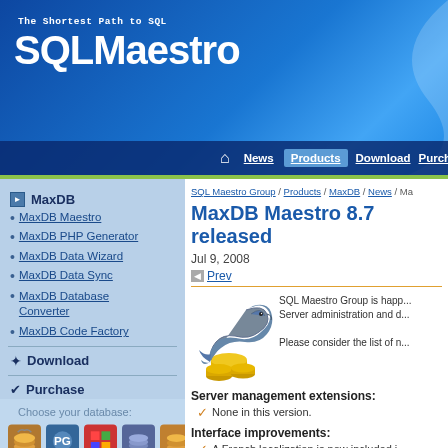The Shortest Path to SQL SQLMaestro
News | Products | Download | Purchase
MaxDB
MaxDB Maestro
MaxDB PHP Generator
MaxDB Data Wizard
MaxDB Data Sync
MaxDB Database Converter
MaxDB Code Factory
Download
Purchase
Choose your database:
SQL Maestro Group / Products / MaxDB / News / Ma
MaxDB Maestro 8.7 released
Jul 9, 2008
Prev
[Figure (illustration): Dolphin with gold coins/database cylinders logo for MaxDB Maestro]
SQL Maestro Group is happ... Server administration and d...
Please consider the list of n...
Server management extensions:
None in this version.
Interface improvements:
A French localization is now included i...